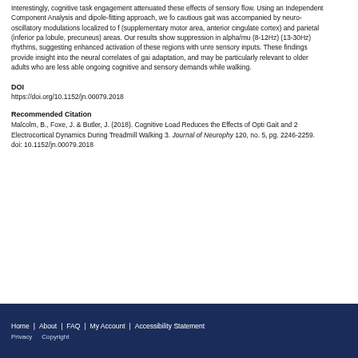Interestingly, cognitive task engagement attenuated these effects of sensory flow. Using an Independent Component Analysis and dipole-fitting approach, we found that cautious gait was accompanied by neuro-oscillatory modulations localized to frontal (supplementary motor area, anterior cingulate cortex) and parietal (inferior parietal lobule, precuneus) areas. Our results show suppression in alpha/mu (8-12Hz) and beta (13-30Hz) rhythms, suggesting enhanced activation of these regions with unreliable sensory inputs. These findings provide insight into the neural correlates of gait adaptation, and may be particularly relevant to older adults who are less able to handle ongoing cognitive and sensory demands while walking.
DOI
https://doi.org/10.1152/jn.00079.2018
Recommended Citation
Malcolm, B., Foxe, J. & Butler, J. (2018). Cognitive Load Reduces the Effects of Optic Flow on Gait and 2 Electrocortical Dynamics During Treadmill Walking 3. Journal of Neurophysiology, 120, no. 5, pg. 2246-2259. doi: 10.1152/jn.00079.2018
Home | About | FAQ | My Account | Accessibility Statement Privacy Copyright